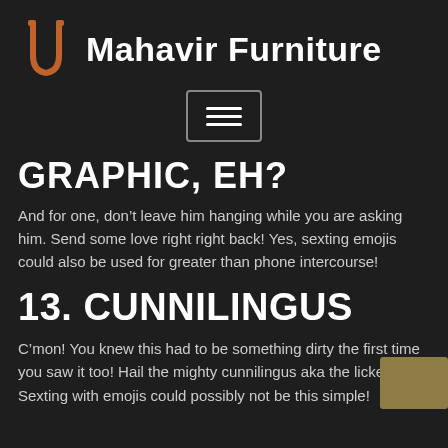Mahavir Furniture
[Figure (logo): Mahavir Furniture logo with orange stylized U/fork icon and white bold brand name text]
[Figure (other): Hamburger menu button icon with three horizontal lines inside a rounded rectangle border]
GRAPHIC, EH?
And for one, don’t leave him hanging while you are asking him. Send some love right right back! Yes, sexting emojis could also be used for greater than phone intercourse!
13. CUNNILINGUS
C’mon! You knew this had to be something dirty the first time you saw it too! Hail the mighty cunnilingus aka the licker! Sexting with emojis could possibly not be this simple!